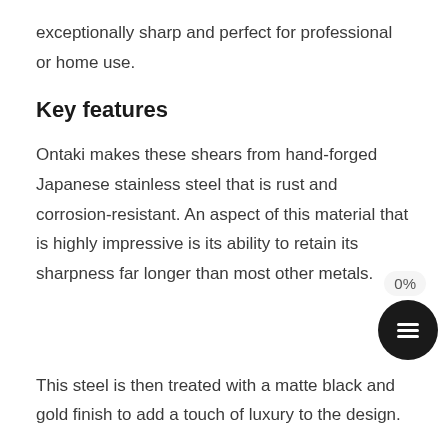exceptionally sharp and perfect for professional or home use.
Key features
Ontaki makes these shears from hand-forged Japanese stainless steel that is rust and corrosion-resistant. An aspect of this material that is highly impressive is its ability to retain its sharpness far longer than most other metals.
This steel is then treated with a matte black and gold finish to add a touch of luxury to the design.